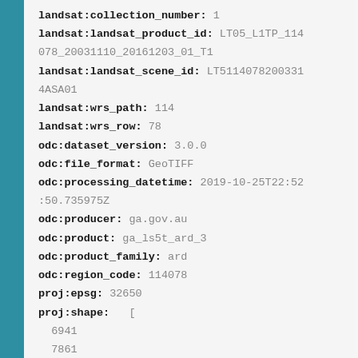landsat:collection_number: 1
landsat:landsat_product_id: LT05_L1TP_114078_20031110_20161203_01_T1
landsat:landsat_scene_id: LT51140782003314ASA01
landsat:wrs_path: 114
landsat:wrs_row: 78
odc:dataset_version: 3.0.0
odc:file_format: GeoTIFF
odc:processing_datetime: 2019-10-25T22:52:50.735975Z
odc:producer: ga.gov.au
odc:product: ga_ls5t_ard_3
odc:product_family: ard
odc:region_code: 114078
proj:epsg: 32650
proj:shape:   [
  6941
  7861
]